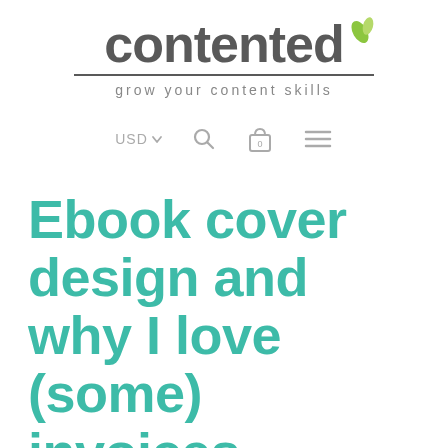contented — grow your content skills
Ebook cover design and why I love (some) invoices
Mar 06, 2014